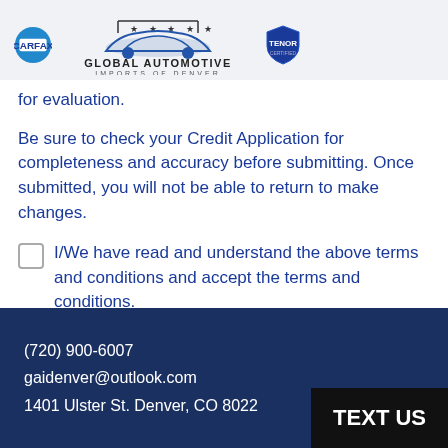[Figure (logo): CARFAX logo, Global Automotive Imports of Denver logo with car silhouette and stars, and a shield badge logo]
for evaluation.
Be sure to check your Credit Application for completeness and accuracy before submitting. Once submitted, you will not be able to return to make changes.
I/We have read and understand the above terms and conditions and accept the terms and conditions.
Get Approved
(720) 900-6007
gaidenver@outlook.com
1401 Ulster St. Denver, CO 80022